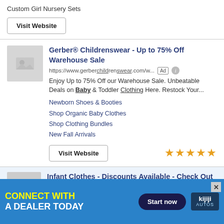Custom Girl Nursery Sets
Visit Website
Gerber® Childrenswear - Up to 75% Off Warehouse Sale
https://www.gerberchildrenswear.com/w...
Enjoy Up to 75% Off our Warehouse Sale. Unbeatable Deals on Baby & Toddler Clothing Here. Restock Your...
Newborn Shoes & Booties
Shop Organic Baby Clothes
Shop Clothing Bundles
New Fall Arrivals
Visit Website
Infant Clothes - Discounts Available - Check Out The Collections
https://www.thelittlelemonscompany.co...
Terms And
CONNECT WITH A DEALER TODAY
Start now
kijiji AUTOS